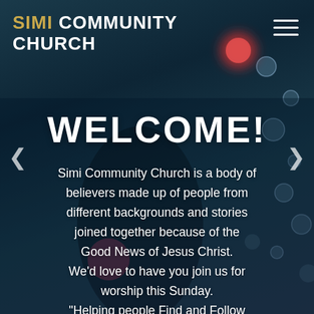[Figure (photo): Dark blue-toned stage/church background photo with blurred performer, bokeh light dots on right side, warm red/pink stage lights]
SIMI COMMUNITY CHURCH
WELCOME!
Simi Community Church is a body of believers made up of people from different backgrounds and stories joined together because of the Good News of Jesus Christ. We'd love to have you join us for worship this Sunday. "Helping people Find and Follow Jesus"